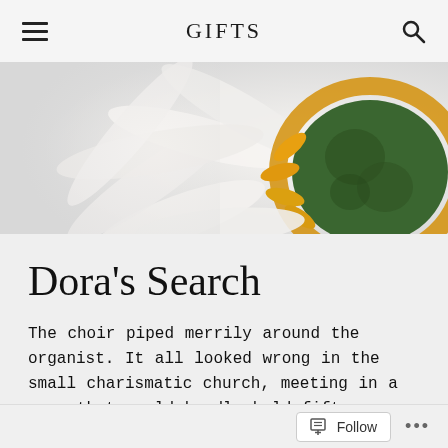GIFTS
[Figure (photo): Close-up photo of a white daisy/gerbera flower with a yellow and green center, petals extending to the left, on a light background]
Dora's Search
The choir piped merrily around the organist. It all looked wrong in the small charismatic church, meeting in a room that could hardly hold fifty adults. In this room, they were packed like sardines, full, some stood
Follow